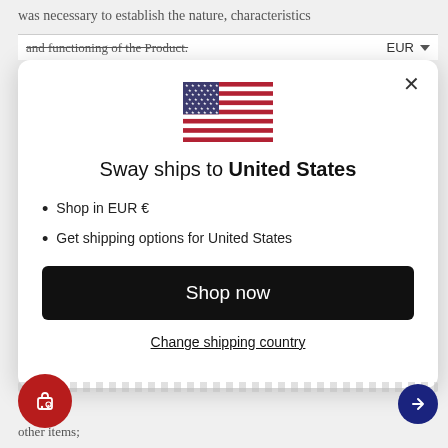was necessary to establish the nature, characteristics
and functioning of the Product.
[Figure (screenshot): Modal dialog overlay on a website showing a US flag, text 'Sway ships to United States', bullet points listing 'Shop in EUR €' and 'Get shipping options for United States', a black 'Shop now' button, and a 'Change shipping country' underlined link. A close (X) button is in the top right of the modal. A red circular cart/wishlist button is visible in the bottom left corner.]
other items;